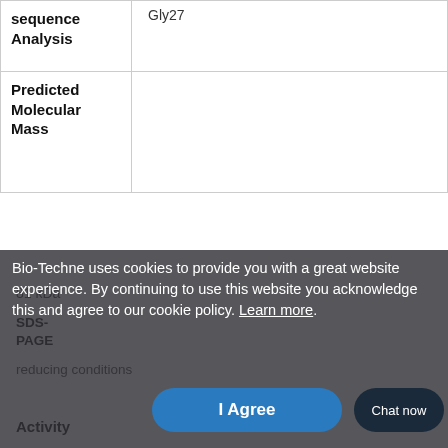| Property | Value |
| --- | --- |
| Sequence Analysis | Gly27 |
| Predicted Molecular Mass | 81 kDa |
| SDS-PAGE | reducing conditions |
| Activity |  |
Bio-Techne uses cookies to provide you with a great website experience. By continuing to use this website you acknowledge this and agree to our cookie policy. Learn more.